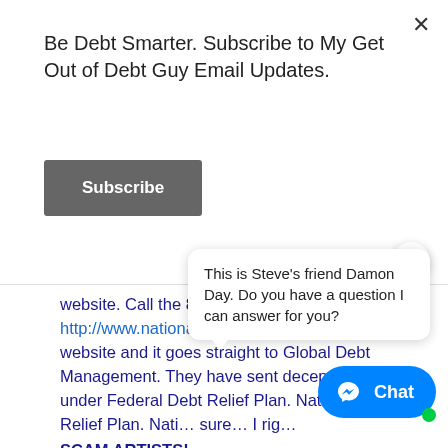Be Debt Smarter. Subscribe to My Get Out of Debt Guy Email Updates.
Subscribe
website. Call the 800# on the http://www.nationaldebtreliefplan.com website and it goes straight to Global Debt Management. They have sent deceptive mailers under Federal Debt Relief Plan. National Debt Relief Plan. Nati... sure... I rig...
SCAM ARTISTS!
Reply
This is Steve's friend Damon Day. Do you have a question I can answer for you?